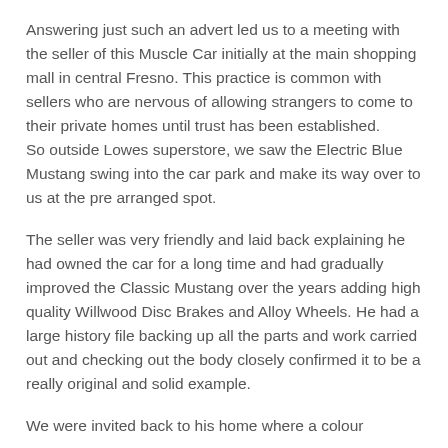Answering just such an advert led us to a meeting with the seller of this Muscle Car initially at the main shopping mall in central Fresno. This practice is common with sellers who are nervous of allowing strangers to come to their private homes until trust has been established.
So outside Lowes superstore, we saw the Electric Blue Mustang swing into the car park and make its way over to us at the pre arranged spot.
The seller was very friendly and laid back explaining he had owned the car for a long time and had gradually improved the Classic Mustang over the years adding high quality Willwood Disc Brakes and Alloy Wheels. He had a large history file backing up all the parts and work carried out and checking out the body closely confirmed it to be a really original and solid example.
We were invited back to his home where a colour